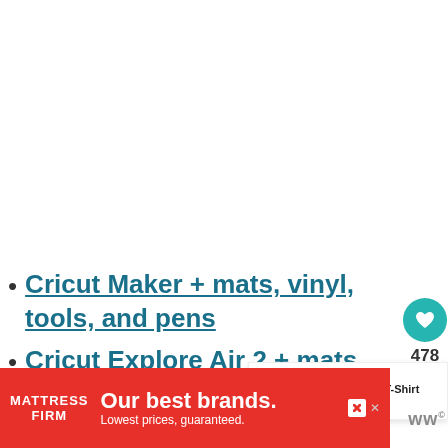[Figure (other): Empty white area at top of page, possibly a loading placeholder for an image or advertisement]
Cricut Maker + mats, vinyl, tools, and pens
Cricut Explore Air 2 + mats, vinyl, tools, and pens
[Figure (other): Floating action buttons: teal heart button with count 478, and share button]
[Figure (other): What's Next panel showing thumbnail and text: How to Make a T-Shirt with ...]
[Figure (other): Advertisement banner: Mattress Firm - Our best brands. Lowest prices, guaranteed.]